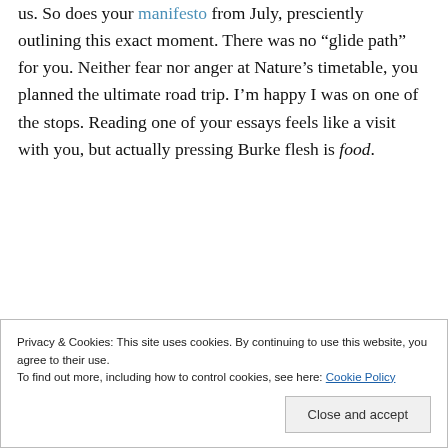us. So does your manifesto from July, presciently outlining this exact moment. There was no “glide path” for you. Neither fear nor anger at Nature’s timetable, you planned the ultimate road trip. I’m happy I was on one of the stops. Reading one of your essays feels like a visit with you, but actually pressing Burke flesh is food.
Privacy & Cookies: This site uses cookies. By continuing to use this website, you agree to their use.
To find out more, including how to control cookies, see here: Cookie Policy
Close and accept